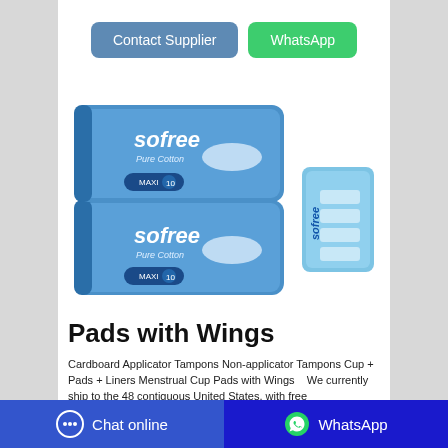[Figure (other): Two blue 'Contact Supplier' and green 'WhatsApp' buttons side by side]
[Figure (photo): Product photo of 'Sofree Pure Cotton' sanitary pads packages — two stacked packages on the left and a smaller folded package on the right. Blue packaging with white branding.]
Pads with Wings
Cardboard Applicator Tampons Non-applicator Tampons Cup + Pads + Liners Menstrual Cup Pads with Wings    We currently ship to the 48 contiguous United States, with free
Chat online   WhatsApp